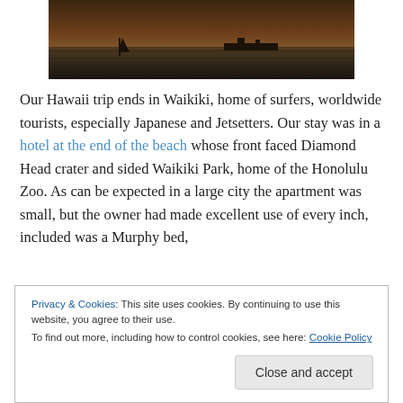[Figure (photo): Dark sunset/dusk photo of ocean with sailboat and ship silhouettes on the horizon, warm brown tones]
Our Hawaii trip ends in Waikiki, home of surfers, worldwide tourists, especially Japanese and Jetsetters. Our stay was in a hotel at the end of the beach whose front faced Diamond Head crater and sided Waikiki Park, home of the Honolulu Zoo. As can be expected in a large city the apartment was small, but the owner had made excellent use of every inch, included was a Murphy bed,
Privacy & Cookies: This site uses cookies. By continuing to use this website, you agree to their use.
To find out more, including how to control cookies, see here: Cookie Policy
Close and accept